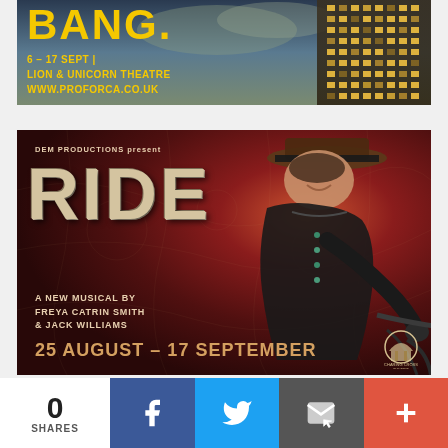[Figure (illustration): Theatre advertisement for 'BANG' show with yellow text on a dark stormy sky background with a building. Text reads: BANG. 6-17 SEPT | LION & UNICORN THEATRE WWW.PROFORCA.CO.UK]
[Figure (illustration): Theatre advertisement for 'RIDE' musical. Dark red background with a woman in Victorian dress and hat on a bicycle. Text: DEM PRODUCTIONS present RIDE A NEW MUSICAL BY FREYA CATRIN SMITH & JACK WILLIAMS 25 AUGUST - 17 SEPTEMBER. Charing Cross Theatre logo bottom right.]
0 SHARES